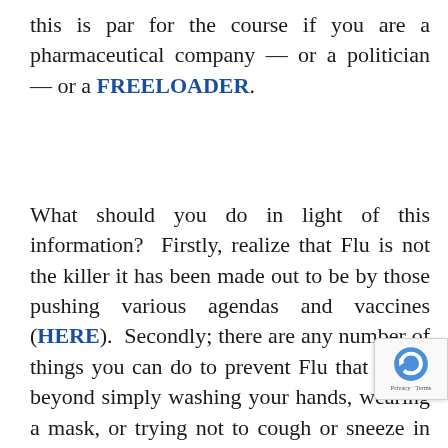this is par for the course if you are a pharmaceutical company — or a politician — or a FREELOADER.
What should you do in light of this information?  Firstly, realize that Flu is not the killer it has been made out to be by those pushing various agendas and vaccines (HERE).  Secondly; there are any number of things you can do to prevent Flu that go far beyond simply washing your hands, wearing a mask, or trying not to cough or sneeze in someone's face (HERE is one example of many).  Thirdly, realize that even th...